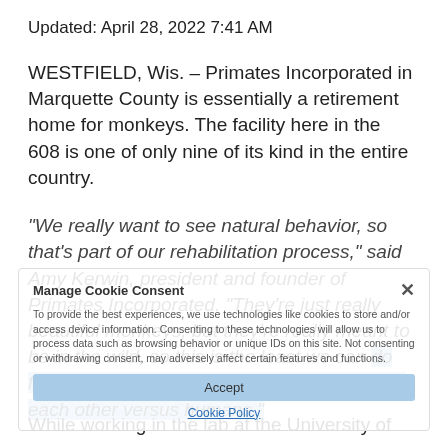Updated: April 28, 2022 7:41 AM
WESTFIELD, Wis. – Primates Incorporated in Marquette County is essentially a retirement home for monkeys. The facility here in the 608 is one of only nine of its kind in the entire country.
“We really want to see natural behavior, so that’s part of our rehabilitation process,” said Amy Kerwin, president and founder of Primates Incorporated. “They’re just really beautiful monkeys, but they’re really meant to be in the wild, so this is the least we can do for them, is provide them with retirement with each other versus humans.”
While working in the lab at the University of
Manage Cookie Consent
To provide the best experiences, we use technologies like cookies to store and/or access device information. Consenting to these technologies will allow us to process data such as browsing behavior or unique IDs on this site. Not consenting or withdrawing consent, may adversely affect certain features and functions.
Accept
Cookie Policy